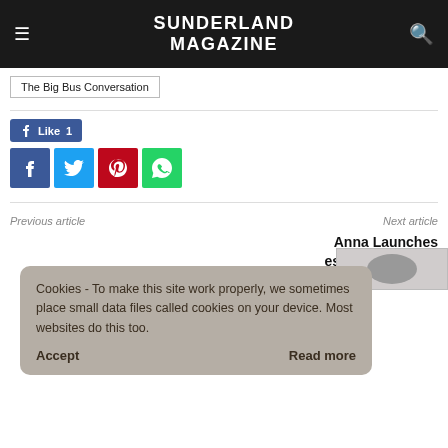SUNDERLAND MAGAZINE
The Big Bus Conversation
[Figure (infographic): Facebook Like button with count of 1]
[Figure (infographic): Social media share buttons: Facebook, Twitter, Pinterest, WhatsApp]
Previous article
Next article
Anna Launches essions Bringing y To Your Home
Cookies - To make this site work properly, we sometimes place small data files called cookies on your device. Most websites do this too.
Accept
Read more